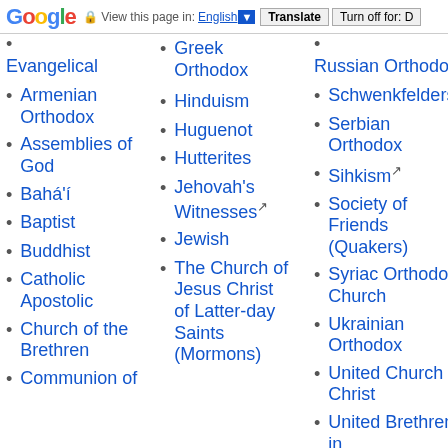Google | View this page in: English | Translate | Turn off for: D
Evangelical (partial)
Armenian Orthodox
Assemblies of God
Bahá'í
Baptist
Buddhist
Catholic Apostolic
Church of the Brethren
Communion of (partial)
Greek Orthodox
Hinduism
Huguenot
Hutterites
Jehovah's Witnesses
Jewish
The Church of Jesus Christ of Latter-day Saints (Mormons)
Russian Orthodox (partial)
Schwenkfelders
Serbian Orthodox
Sihkism
Society of Friends (Quakers)
Syriac Orthodox Church
Ukrainian Orthodox
United Church of Christ
United Brethren in Christ